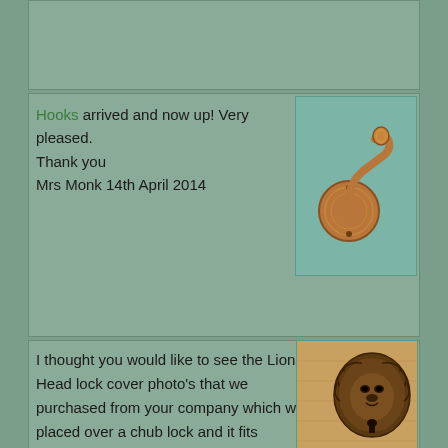[Figure (photo): Top portion of a card/review section, partially cut off at top of page, showing green muted background]
Hooks arrived and now up! Very pleased.
Thank you
Mrs Monk 14th April 2014
[Figure (photo): Photo of a brass/gold decorative coat hook mounted on a round backplate, on a teal/green background]
I thought you would like to see the Lions Head lock cover photo's that we purchased from your company which we placed over a chub lock and it fits
[Figure (photo): Photo of an ornate antique bronze/brass lion head door knocker or lock cover with detailed decorative metalwork]